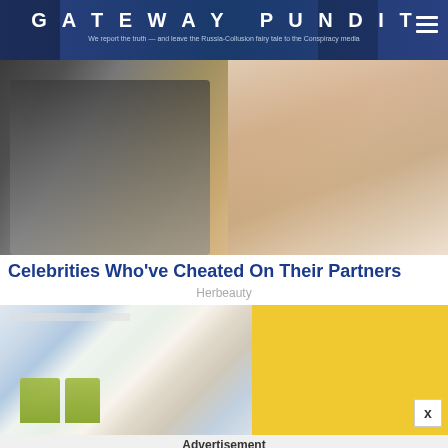GATEWAY PUNDIT — We report the truth — and leave the Russia-Collusion fairy tale to the Conspiracy media
[Figure (photo): Close-up photo of a man in a suit and tie with a woman with long brown hair, both looking down]
Celebrities Who've Cheated On Their Partners
Herbeauty
[Figure (photo): Advertisement banner showing an indoor shopping mall with palm trees and colorful decorations, alongside a yellow panel with a close button]
Advertisement
Our Pupils Dilate When We Look At Our Loved Ones
Brainberries